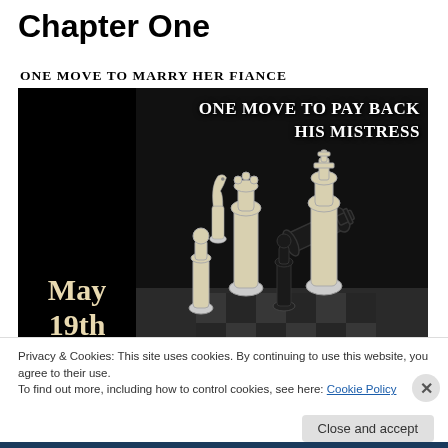Chapter One
[Figure (illustration): Book promo image with two panels: left black panel with gold text 'May 19th', right dark panel with chess pieces photo and text 'ONE MOVE TO PAY BACK HIS MISTRESS'. Above the image in bold: 'ONE MOVE TO MARRY HER FIANCE'.]
Privacy & Cookies: This site uses cookies. By continuing to use this website, you agree to their use.
To find out more, including how to control cookies, see here: Cookie Policy
Close and accept